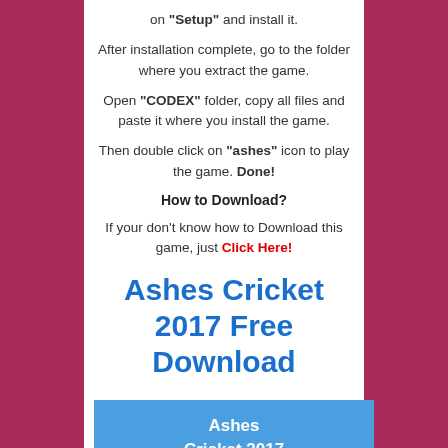on "Setup" and install it.
After installation complete, go to the folder where you extract the game.
Open "CODEX" folder, copy all files and paste it where you install the game.
Then double click on "ashes" icon to play the game. Done!
How to Download?
If your don't know how to Download this game, just Click Here!
Ashes Cricket 2017 Free Download
Ashes Cricket 2017 Free